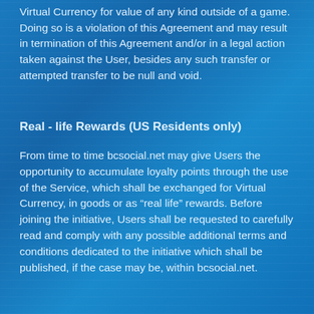Virtual Currency for value of any kind outside of a game. Doing so is a violation of this Agreement and may result in termination of this Agreement and/or in a legal action taken against the User, besides any such transfer or attempted transfer to be null and void.
Real - life Rewards (US Residents only)
From time to time bcsocial.net may give Users the opportunity to accumulate loyalty points through the use of the Service, which shall be exchanged for Virtual Currency, in goods or as “real life” rewards. Before joining the initiative, Users shall be requested to carefully read and comply with any possible additional terms and conditions dedicated to the initiative which shall be published, if the case may be, within bcsocial.net.